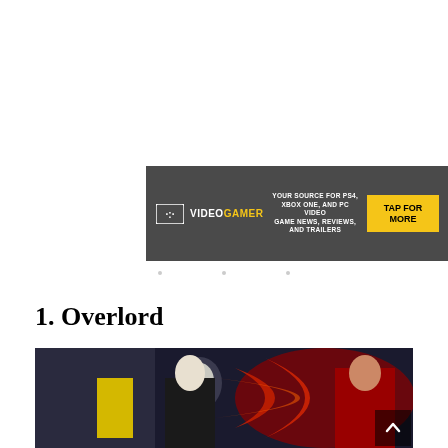[Figure (other): VideoGamer advertisement banner: dark gray background with VideoGamer logo on left, text 'YOUR SOURCE FOR PS4, XBOX ONE, AND PC VIDEO GAME NEWS, REVIEWS, AND TRAILERS' in center, yellow 'TAP FOR MORE' button on right]
1. Overlord
[Figure (illustration): Anime illustration showing characters from Overlord anime series — a skeletal figure in a suit, a character with long blonde hair, and a character in red with dramatic action pose and red energy effects]